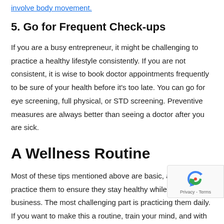involve body movement.
5. Go for Frequent Check-ups
If you are a busy entrepreneur, it might be challenging to practice a healthy lifestyle consistently. If you are not consistent, it is wise to book doctor appointments frequently to be sure of your health before it's too late. You can go for eye screening, full physical, or STD screening. Preventive measures are always better than seeing a doctor after you are sick.
A Wellness Routine
Most of these tips mentioned above are basic, and any can practice them to ensure they stay healthy while running a business. The most challenging part is practicing them daily. If you want to make this a routine, train your mind, and with